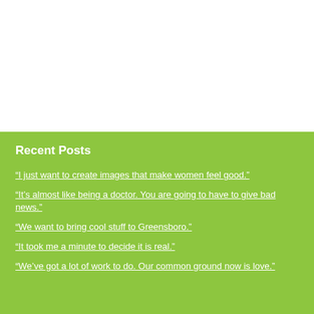Recent Posts
“I just want to create images that make women feel good.”
“It’s almost like being a doctor. You are going to have to give bad news.”
“We want to bring cool stuff to Greensboro.”
“It took me a minute to decide it is real.”
“We’ve got a lot of work to do. Our common ground now is love.”